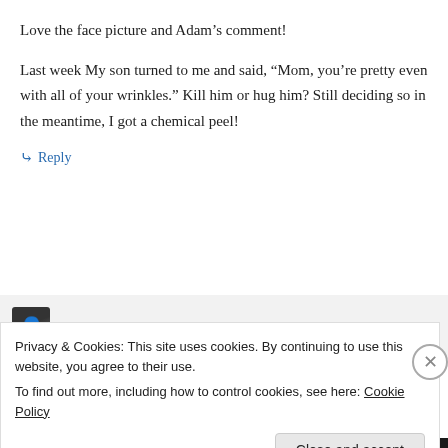Love the face picture and Adam’s comment!
Last week My son turned to me and said, “Mom, you’re pretty even with all of your wrinkles.” Kill him or hug him? Still deciding so in the meantime, I got a chemical peel!
↳ Reply
Meet the Buttrams on November 22, 2011 at
Privacy & Cookies: This site uses cookies. By continuing to use this website, you agree to their use.
To find out more, including how to control cookies, see here: Cookie Policy
Close and accept